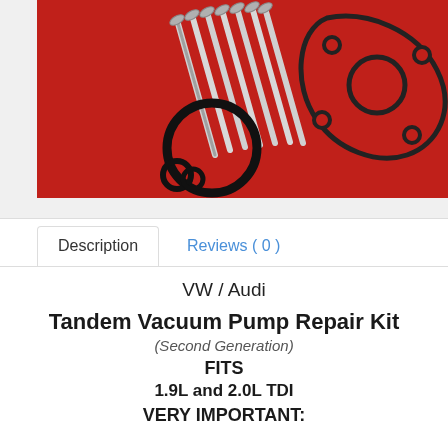[Figure (photo): Product photo of VW/Audi Tandem Vacuum Pump Repair Kit components (screws, gaskets, O-rings) on a red background]
Description
Reviews ( 0 )
VW / Audi
Tandem Vacuum Pump Repair Kit
(Second Generation)
FITS
1.9L and 2.0L TDI
VERY IMPORTANT: